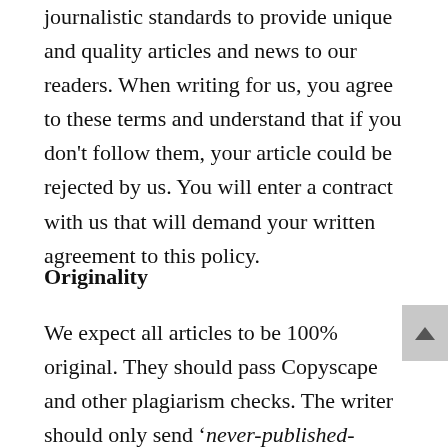journalistic standards to provide unique and quality articles and news to our readers. When writing for us, you agree to these terms and understand that if you don't follow them, your article could be rejected by us. You will enter a contract with us that will demand your written agreement to this policy.
Originality
We expect all articles to be 100% original. They should pass Copyscape and other plagiarism checks. The writer should only send 'never-published-before' content for approval by our editors. It is imperative that you focus on writing